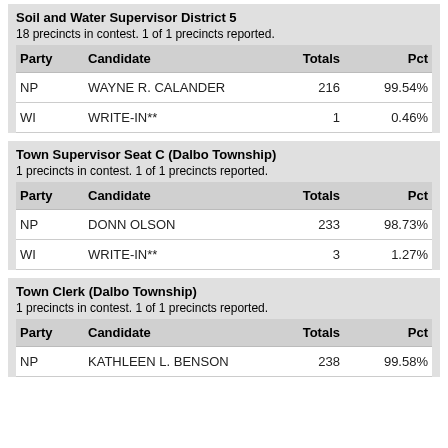Soil and Water Supervisor District 5
18 precincts in contest. 1 of 1 precincts reported.
| Party | Candidate | Totals | Pct |
| --- | --- | --- | --- |
| NP | WAYNE R. CALANDER | 216 | 99.54% |
| WI | WRITE-IN** | 1 | 0.46% |
Town Supervisor Seat C (Dalbo Township)
1 precincts in contest. 1 of 1 precincts reported.
| Party | Candidate | Totals | Pct |
| --- | --- | --- | --- |
| NP | DONN OLSON | 233 | 98.73% |
| WI | WRITE-IN** | 3 | 1.27% |
Town Clerk (Dalbo Township)
1 precincts in contest. 1 of 1 precincts reported.
| Party | Candidate | Totals | Pct |
| --- | --- | --- | --- |
| NP | KATHLEEN L. BENSON | 238 | 99.58% |